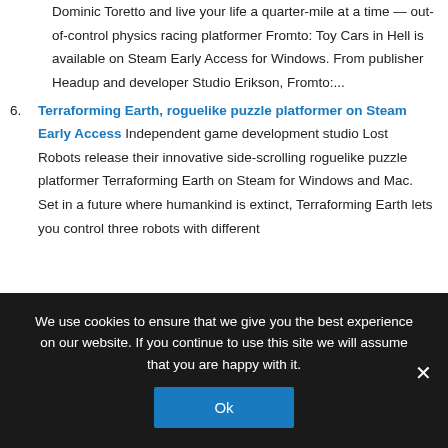Dominic Toretto and live your life a quarter-mile at a time — out-of-control physics racing platformer Fromto: Toy Cars in Hell is available on Steam Early Access for Windows. From publisher Headup and developer Studio Erikson, Fromto:...
6. Terraforming Earth, roguelike puzzle platformer on Steam Early Access Independent game development studio Lost Robots release their innovative side-scrolling roguelike puzzle platformer Terraforming Earth on Steam for Windows and Mac. Set in a future where humankind is extinct, Terraforming Earth lets you control three robots with different
We use cookies to ensure that we give you the best experience on our website. If you continue to use this site we will assume that you are happy with it.